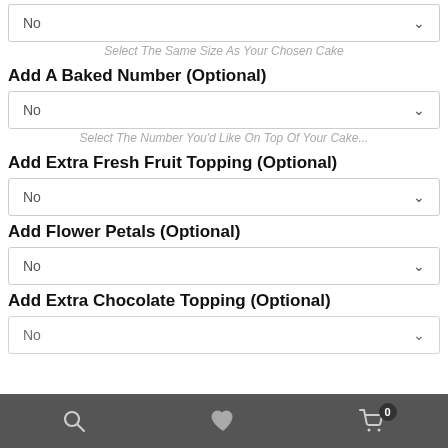No (dropdown)
Select The Same Size As Your Chosen Cake
Add A Baked Number (Optional)
No (dropdown)
Select The Number You'd Like On Top Of Your Cake...
Add Extra Fresh Fruit Topping (Optional)
No (dropdown)
Add Flower Petals (Optional)
No (dropdown)
Add Extra Chocolate Topping (Optional)
No (dropdown)
Search | Wishlist | Cart (0)